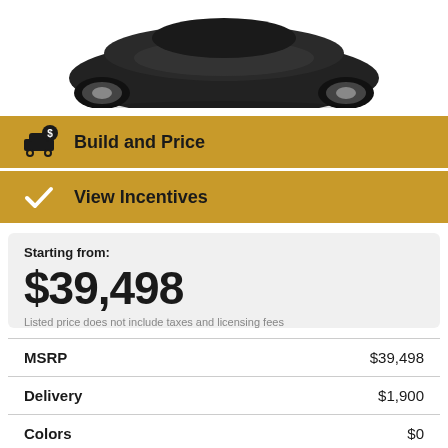[Figure (photo): Partial view of a dark SUV/crossover vehicle from above, showing the front hood and windshield area against a white background.]
Build and Price
View Incentives
Starting from:
$39,498
Listed price does not include taxes and licensing fees
|  |  |
| --- | --- |
| MSRP | $39,498 |
| Delivery | $1,900 |
| Colors | $0 |
| Options | $0 |
| Purchase Price | $41,398 |